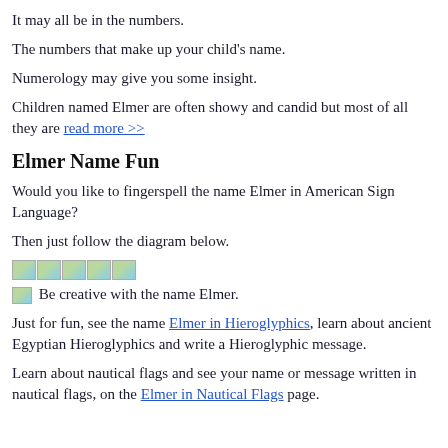It may all be in the numbers.
The numbers that make up your child's name.
Numerology may give you some insight.
Children named Elmer are often showy and candid but most of all they are read more >>
Elmer Name Fun
Would you like to fingerspell the name Elmer in American Sign Language?
Then just follow the diagram below.
[Figure (illustration): Five small fingerspelling hand sign images for each letter of Elmer in American Sign Language]
[image] Be creative with the name Elmer.
Just for fun, see the name Elmer in Hieroglyphics, learn about ancient Egyptian Hieroglyphics and write a Hieroglyphic message.
Learn about nautical flags and see your name or message written in nautical flags, on the Elmer in Nautical Flags page.